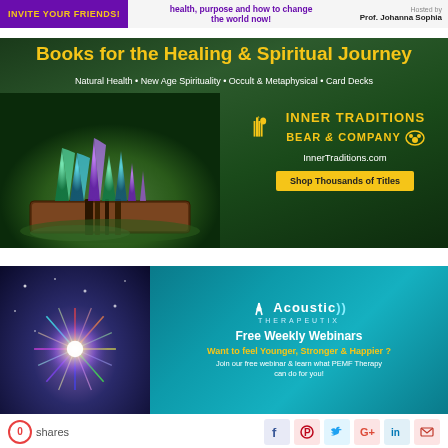INVITE YOUR FRIENDS! | health, purpose and how to change the world now! | Hosted by Prof. Johanna Sophia
[Figure (advertisement): Inner Traditions Bear & Company advertisement - Books for the Healing & Spiritual Journey. Natural Health · New Age Spirituality · Occult & Metaphysical · Card Decks. Shows crystal gemstone towers on a book with forest background. Logo and InnerTraditions.com with Shop Thousands of Titles button.]
[Figure (advertisement): Acoustic Therapeutix advertisement - Free Weekly Webinars. Left side shows cosmic light burst image. Right side on teal background: Want to feel Younger, Stronger & Happier? Join our free webinar & learn what PEMF Therapy can do for you!]
0 shares
[Figure (infographic): Social share icons: Facebook, Pinterest, Twitter, Google+, LinkedIn, Email]